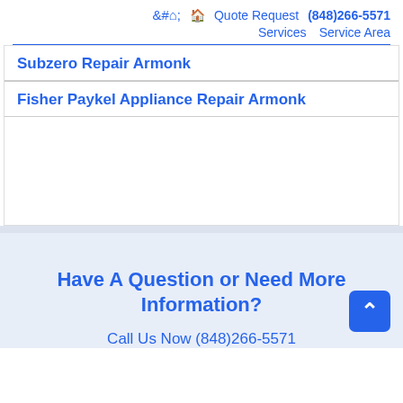🏠 Quote Request (848)266-5571 | Services Service Area
Subzero Repair Armonk
Fisher Paykel Appliance Repair Armonk
Have A Question or Need More Information?
Call Us Now (848)266-5571